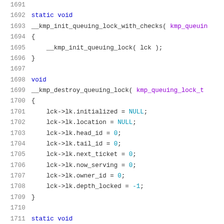Source code listing lines 1691-1711 showing C/C++ functions __kmp_init_queuing_lock_with_checks and __kmp_destroy_queuing_lock